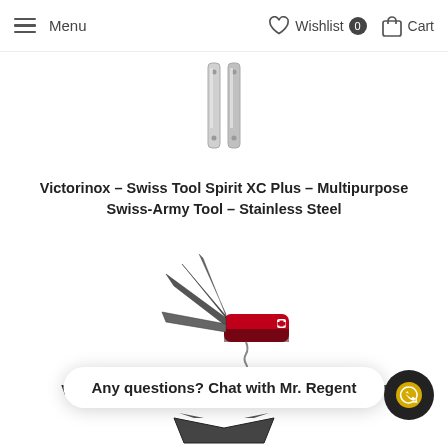Menu  Wishlist 0  Cart
[Figure (photo): Victorinox Swiss Tool Spirit XC Plus open, showing two silver stainless steel handles]
Victorinox – Swiss Tool Spirit XC Plus – Multipurpose Swiss-Army Tool – Stainless Steel
[Figure (photo): Victorinox Ranger Grip 71 Pen Knife in red and black with multiple blades open including scissors, saw, and corkscrew]
Victorinox Ranger Grip 71 Pen Knife – 'Gardener'
Any questions? Chat with Mr. Regent
[Figure (logo): WhatsApp chat button icon on dark circular background]
[Figure (photo): Partial product image at bottom of page, dark multi-tool]